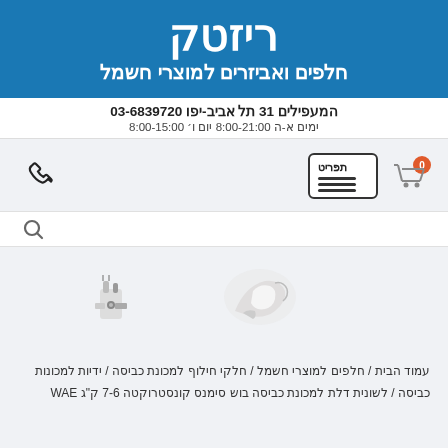ריזטק
חלפים ואביזרים למוצרי חשמל
המעפילים 31 תל אביב-יפו 03-6839720
ימים א-ה 8:00-21:00 יום ו׳ 8:00-15:00
[Figure (screenshot): Navigation bar with shopping cart icon (badge showing 0), menu button labeled תפריט with hamburger icon, and phone icon on the left]
[Figure (screenshot): Search bar with magnifying glass icon and two product images showing electrical parts/components]
עמוד הבית / חלפים למוצרי חשמל / חלקי חילוף למכונת כביסה / ידיות למכונות כביסה / לשונית דלת למכונת כביסה בוש סימנס קונסטרוקטה 7-6 ק"ג WAE